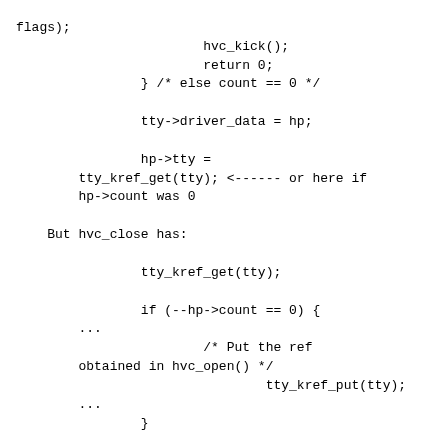flags);
                        hvc_kick();
                        return 0;
                } /* else count == 0 */

                tty->driver_data = hp;

                hp->tty =
        tty_kref_get(tty); <------ or here if
        hp->count was 0

    But hvc_close has:

                tty_kref_get(tty);

                if (--hp->count == 0) {
        ...
                        /* Put the ref
        obtained in hvc_open() */
                                tty_kref_put(tty);
        ...
                }

                tty_kref_put(tty);

    Since the outside kref get/put
        balance we only do a single kref_put when
        count reaches 0.

    The outside kref put will...